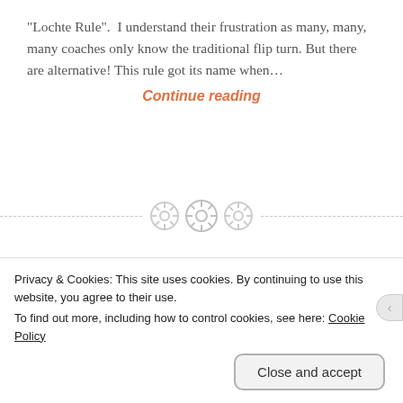"Lochte Rule". I understand their frustration as many, many, many coaches only know the traditional flip turn. But there are alternative! This rule got its name when…
Continue reading
[Figure (other): Decorative section divider with dashed horizontal line and three circular button/gear icons in the center]
We Need a Saner Approach to
Privacy & Cookies: This site uses cookies. By continuing to use this website, you agree to their use.
To find out more, including how to control cookies, see here: Cookie Policy
Close and accept